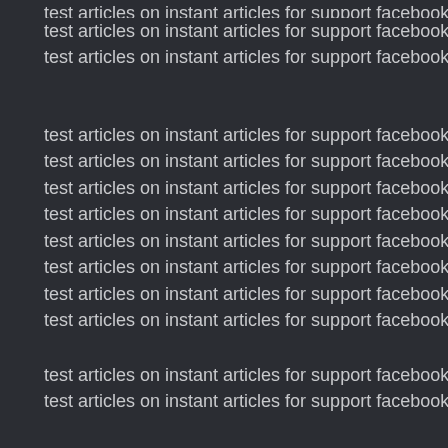test articles on instant articles for support facebook
test articles on instant articles for support facebook
test articles on instant articles for support facebook
test articles on instant articles for support facebook
test articles on instant articles for support facebook
test articles on instant articles for support facebook
test articles on instant articles for support facebook
test articles on instant articles for support facebook
test articles on instant articles for support facebook
test articles on instant articles for support facebook
test articles on instant articles for support facebook
test articles on instant articles for support facebook
test articles on instant articles for support facebook